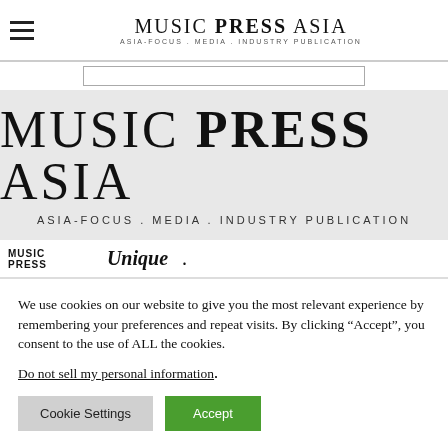MUSIC PRESS ASIA — ASIA-FOCUS . MEDIA . INDUSTRY PUBLICATION
[Figure (logo): Music Press Asia logo — large banner on grey background. Text: MUSIC PRESS ASIA with PRESS in bold. Subtitle: ASIA-FOCUS . MEDIA . INDUSTRY PUBLICATION]
MUSIC PRESS . Unique .
We use cookies on our website to give you the most relevant experience by remembering your preferences and repeat visits. By clicking “Accept”, you consent to the use of ALL the cookies.
Do not sell my personal information.
Cookie Settings  Accept